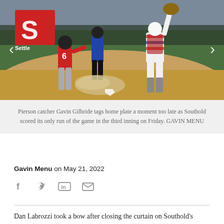[Figure (photo): Baseball play at home plate: Pierson catcher Gavin Gilbride reaching to tag home plate while Southold runner slides in, with umpire watching. Red, white and blue catcher gear. Dirt field with green outfield and red 'S' sign in background.]
Pierson catcher Gavin Gilbride tags home plate a moment too late as Southold scored its only run of the game in the third inning on Friday. GAVIN MENU
Gavin Menu on May 21, 2022
[Figure (infographic): Social share icons: Facebook (f), Twitter (bird), LinkedIn (in), Email (envelope)]
Dan Labrozzi took a bow after closing the curtain on Southold's high school baseball game on Friday. First, he beat...